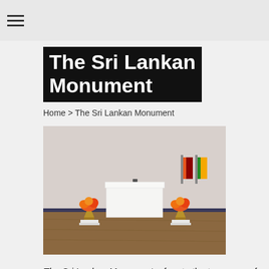☰
The Sri Lankan Monument
Home > The Sri Lankan Monument
[Figure (photo): Gallery installation photo showing a white podium/altar in the center of a room with wooden floors. Orange flower arrangements in gold vases sit on white pedestals on either side. Two flags (Sri Lankan and another flag) are mounted on the right wall.]
The Sri Lankan Monument refers to the true saga of the Sri Lankan national